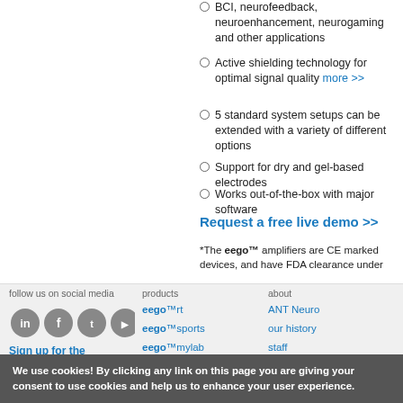BCI, neurofeedback, neuroenhancement, neurogaming and other applications
Active shielding technology for optimal signal quality more >>
5 standard system setups can be extended with a variety of different options
Support for dry and gel-based electrodes
Works out-of-the-box with major software
Request a free live demo >>
*The eego™ amplifiers are CE marked devices, and have FDA clearance under
follow us on social media
Sign up for the ANT newsletter
products
eego™rt
eego™sports
eego™mylab
visor2™
smartmove™
waveguard™ EEG caps
about
ANT Neuro
our history
staff
careers
support
company
We use cookies! By clicking any link on this page you are giving your consent to use cookies and help us to enhance your user experience.